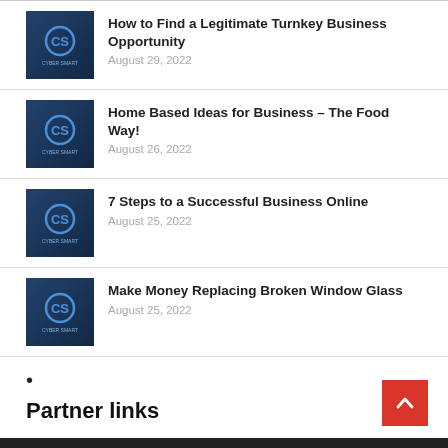How to Find a Legitimate Turnkey Business Opportunity
August 29, 2022
Home Based Ideas for Business – The Food Way!
August 26, 2022
7 Steps to a Successful Business Online
August 25, 2022
Make Money Replacing Broken Window Glass
August 25, 2022
•
Partner links
[Figure (other): Scroll to top button with upward arrow on red background]